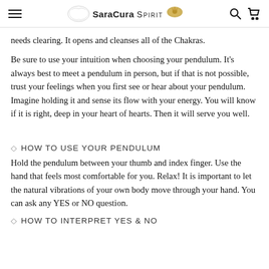SaraCura Spirit
needs clearing. It opens and cleanses all of the Chakras.
Be sure to use your intuition when choosing your pendulum. It's always best to meet a pendulum in person, but if that is not possible, trust your feelings when you first see or hear about your pendulum. Imagine holding it and sense its flow with your energy. You will know if it is right, deep in your heart of hearts. Then it will serve you well.
◇ HOW TO USE YOUR PENDULUM
Hold the pendulum between your thumb and index finger. Use the hand that feels most comfortable for you. Relax! It is important to let the natural vibrations of your own body move through your hand. You can ask any YES or NO question.
◇ HOW TO INTERPRET YES & NO